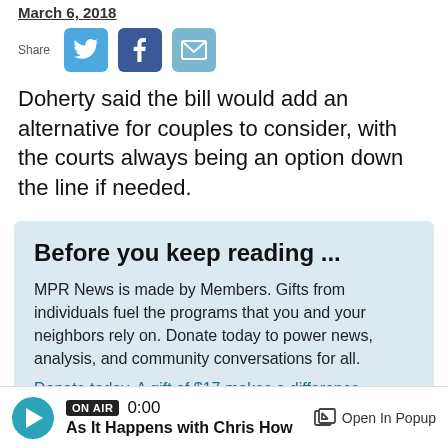March 6, 2018
[Figure (infographic): Share icons for Twitter, Facebook, and Email with Share label]
Doherty said the bill would add an alternative for couples to consider, with the courts always being an option down the line if needed.
Before you keep reading ...
MPR News is made by Members. Gifts from individuals fuel the programs that you and your neighbors rely on. Donate today to power news, analysis, and community conversations for all.
Donate today. A gift of $17 makes a difference.
Support MPR News Today
ON AIR 0:00 As It Happens with Chris How  Open In Popup